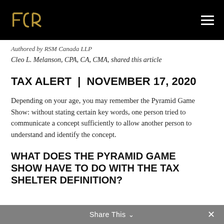FCR logo and navigation
Authored by RSM Canada LLP
Cleo L. Melanson, CPA, CA, CMA, shared this article
TAX ALERT | NOVEMBER 17, 2020
Depending on your age, you may remember the Pyramid Game Show: without stating certain key words, one person tried to communicate a concept sufficiently to allow another person to understand and identify the concept.
WHAT DOES THE PYRAMID GAME SHOW HAVE TO DO WITH THE TAX SHELTER DEFINITION?